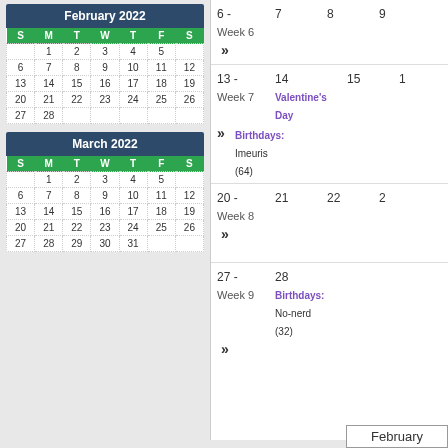| S | M | T | W | T | F | S |
| --- | --- | --- | --- | --- | --- | --- |
|  | 1 | 2 | 3 | 4 | 5 |  |
| 6 | 7 | 8 | 9 | 10 | 11 | 12 |
| 13 | 14 | 15 | 16 | 17 | 18 | 19 |
| 20 | 21 | 22 | 23 | 24 | 25 | 26 |
| 27 | 28 |  |  |  |  |  |
| S | M | T | W | T | F | S |
| --- | --- | --- | --- | --- | --- | --- |
|  | 1 | 2 | 3 | 4 | 5 |  |
| 6 | 7 | 8 | 9 | 10 | 11 | 12 |
| 13 | 14 | 15 | 16 | 17 | 18 | 19 |
| 20 | 21 | 22 | 23 | 24 | 25 | 26 |
| 27 | 28 | 29 | 30 | 31 |  |  |
6 - Week 6 | 7 | 8 | 9
13 - Week 7 | 14 Valentine's Day | 15 | 1
Birthdays: Imeuris (64)
20 - Week 8 | 21 | 22 | 2
27 - Week 9 | 28 Birthdays: No-nerd (32)
February